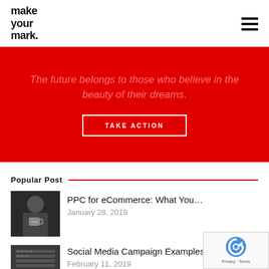make your mark.
[Figure (illustration): Red hero banner with italic quote text 'The future belongs to those who believe in the beauty of their dreams.' and a 'TAKE ACTION' button]
Popular Post
[Figure (photo): Person holding a mug, black and white thumbnail]
PPC for eCommerce: What You…
January 28, 2019
[Figure (photo): Laptop keyboard, thumbnail for Social Media Campaign Examples post]
Social Media Campaign Examples
February 11, 2019